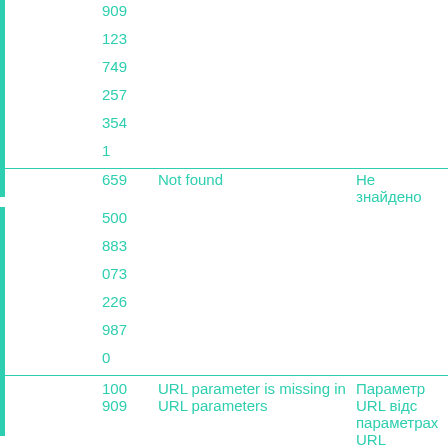|  | Code | English | Ukrainian |
| --- | --- | --- | --- |
|  | 909 |  |  |
|  | 123 |  |  |
|  | 749 |  |  |
|  | 257 |  |  |
|  | 354 |  |  |
|  | 1 |  |  |
|  | 659 | Not found | Не знайдено |
|  | 500 |  |  |
|  | 883 |  |  |
|  | 073 |  |  |
|  | 226 |  |  |
|  | 987 |  |  |
|  | 0 |  |  |
|  | 100 | URL parameter is missing in URL parameters | Параметр URL відс параметрах URL |
|  | 909 |  |  |
|  | 594 |  |  |
|  | 016 |  |  |
|  | 047 |  |  |